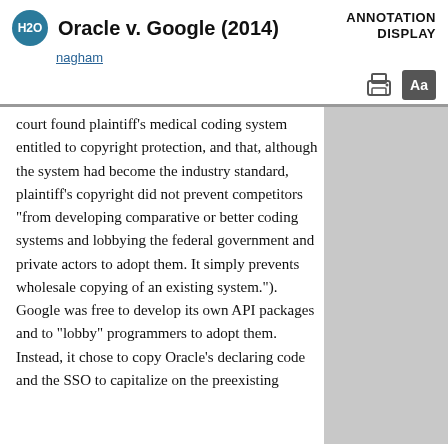Oracle v. Google (2014)
ANNOTATION DISPLAY
nagham
court found plaintiff's medical coding system entitled to copyright protection, and that, although the system had become the industry standard, plaintiff's copyright did not prevent competitors "from developing comparative or better coding systems and lobbying the federal government and private actors to adopt them. It simply prevents wholesale copying of an existing system."). Google was free to develop its own API packages and to "lobby" programmers to adopt them. Instead, it chose to copy Oracle's declaring code and the SSO to capitalize on the preexisting